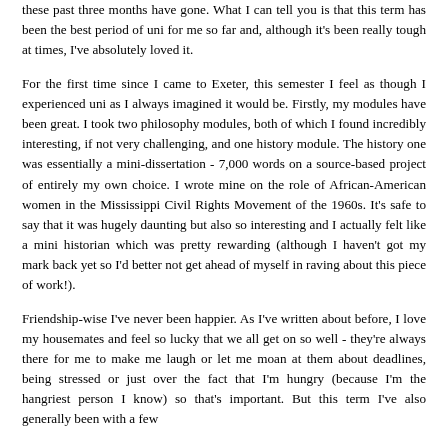these past three months have gone. What I can tell you is that this term has been the best period of uni for me so far and, although it's been really tough at times, I've absolutely loved it.
For the first time since I came to Exeter, this semester I feel as though I experienced uni as I always imagined it would be. Firstly, my modules have been great. I took two philosophy modules, both of which I found incredibly interesting, if not very challenging, and one history module. The history one was essentially a mini-dissertation - 7,000 words on a source-based project of entirely my own choice. I wrote mine on the role of African-American women in the Mississippi Civil Rights Movement of the 1960s. It's safe to say that it was hugely daunting but also so interesting and I actually felt like a mini historian which was pretty rewarding (although I haven't got my mark back yet so I'd better not get ahead of myself in raving about this piece of work!).
Friendship-wise I've never been happier. As I've written about before, I love my housemates and feel so lucky that we all get on so well - they're always there for me to make me laugh or let me moan at them about deadlines, being stressed or just over the fact that I'm hungry (because I'm the hangriest person I know) so that's important. But this term I've also generally been with a few